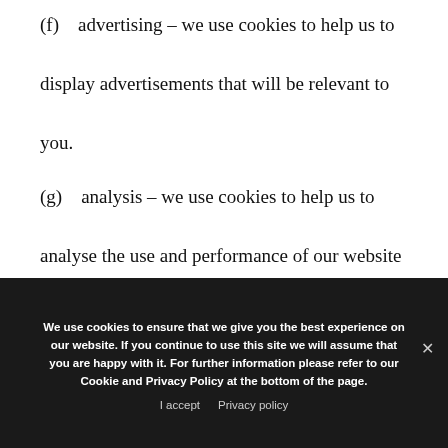(f)    advertising – we use cookies to help us to display advertisements that will be relevant to you.
(g)    analysis – we use cookies to help us to analyse the use and performance of our website and services.
We use cookies to ensure that we give you the best experience on our website. If you continue to use this site we will assume that you are happy with it. For further information please refer to our Cookie and Privacy Policy at the bottom of the page.
I accept   Privacy policy